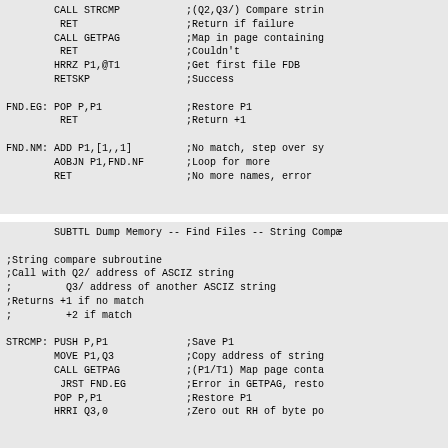CALL STRCMP ;(Q2,Q3/) Compare strin
 RET ;Return if failure
CALL GETPAG ;Map in page containing
 RET ;Couldn't
HRRZ P1,@T1 ;Get first file FDB
RETSKP ;Success

FND.EG: POP P,P1 ;Restore P1
 RET ;Return +1

FND.NM: ADD P1,[1,,1] ;No match, step over sy
 AOBJN P1,FND.NF ;Loop for more
 RET ;No more names, error
SUBTTL Dump Memory -- Find Files -- String Compa

;String compare subroutine
;Call with Q2/ address of ASCIZ string
; Q3/ address of another ASCIZ string
;Returns +1 if no match
; +2 if match

STRCMP: PUSH P,P1 ;Save P1
 MOVE P1,Q3 ;Copy address of string
 CALL GETPAG ;(P1/T1) Map page conta
 JRST FND.EG ;Error in GETPAG, resto
 POP P,P1 ;Restore P1
 HRRI Q3,0 ;Zero out RH of byte po